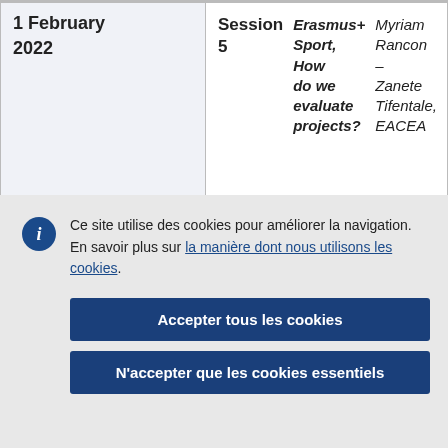| Date | Session |
| --- | --- |
| 1 February
2022 | Session 5 | Erasmus+ Sport, How do we evaluate projects? | Myriam Rancon – Zanete Tifentale, EACEA |
Ce site utilise des cookies pour améliorer la navigation. En savoir plus sur la manière dont nous utilisons les cookies.
Accepter tous les cookies
N'accepter que les cookies essentiels